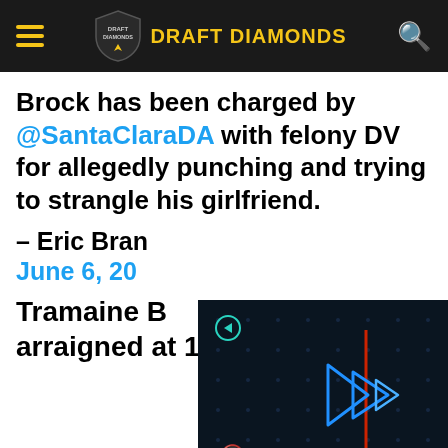DRAFT DIAMONDS
Brock has been charged by @SantaClaraDA with felony DV for allegedly punching and trying to strangle his girlfriend.
– Eric Bran[ch] June 6, 20[...]
[Figure (screenshot): Video player overlay showing dark background with blue geometric play button icon and mute icon]
Tramaine Brock will be arraigned at 1:30 p.m. today;